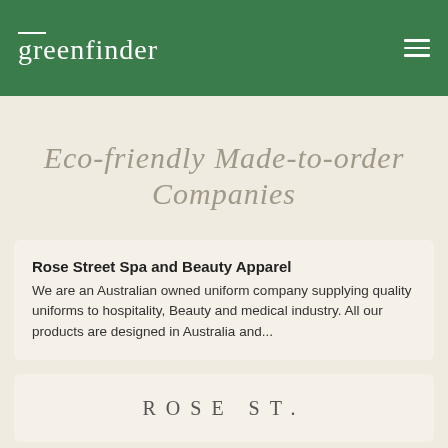greenfinder
Eco-friendly Made-to-order Companies
Rose Street Spa and Beauty Apparel
We are an Australian owned uniform company supplying quality uniforms to hospitality, Beauty and medical industry. All our products are designed in Australia and...
[Figure (logo): ROSE ST. logo text in spaced serif capitals]